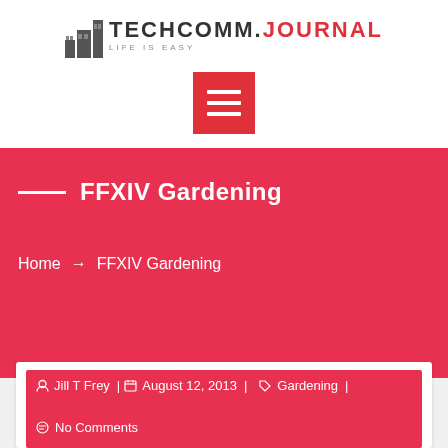[Figure (logo): TechComm Journal logo with building icon and tagline LIFE IS EASY]
[Figure (other): Red hamburger menu button with three white horizontal lines]
FFXIV Gardening
Home → FFXIV Gardening
Jill T Frey | August 12, 2013 | Gardening | No Comments